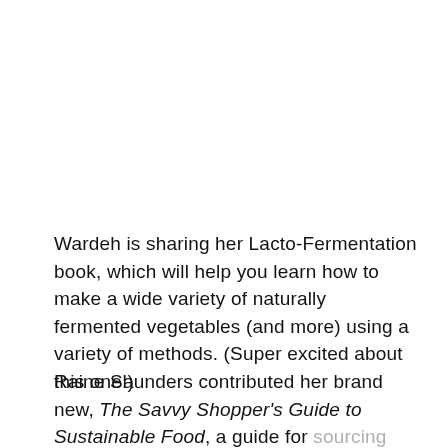Wardeh is sharing her Lacto-Fermentation book, which will help you learn how to make a wide variety of naturally fermented vegetables (and more) using a variety of methods. (Super excited about this one!)
Raine Saunders contributed her brand new, The Savvy Shopper's Guide to Sustainable Food, a guide for sourcing health foods from sustainable avenues, whether it is from local farms and farmer's markets in